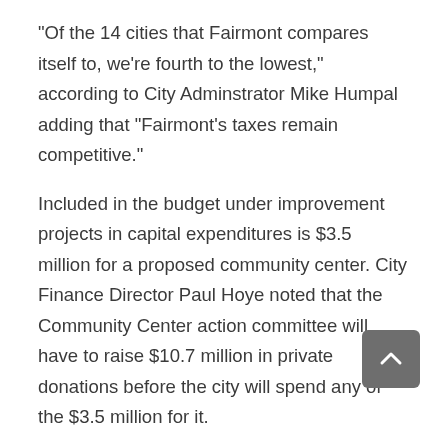“Of the 14 cities that Fairmont compares itself to, we’re fourth to the lowest,” according to City Adminstrator Mike Humpal adding that “Fairmont’s taxes remain competitive.”
Included in the budget under improvement projects in capital expenditures is $3.5 million for a proposed community center. City Finance Director Paul Hoye noted that the Community Center action committee will have to raise $10.7 million in private donations before the city will spend any of the $3.5 million for it.
The council approved a resolution vacating a portion of Geraldine Street